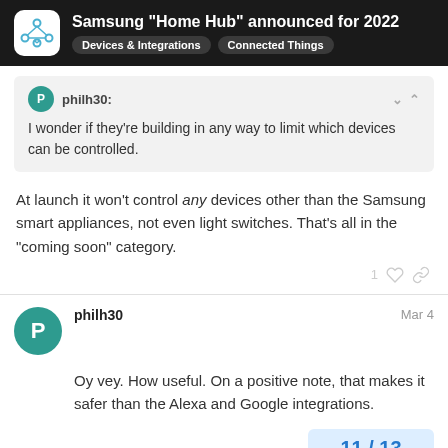Samsung "Home Hub" announced for 2022 | Devices & Integrations | Connected Things
philh30:
I wonder if they're building in any way to limit which devices can be controlled.
At launch it won't control any devices other than the Samsung smart appliances, not even light switches. That's all in the "coming soon" category.
philh30 Mar 4
Oy vey. How useful. On a positive note, that makes it safer than the Alexa and Google integrations.
11 / 13